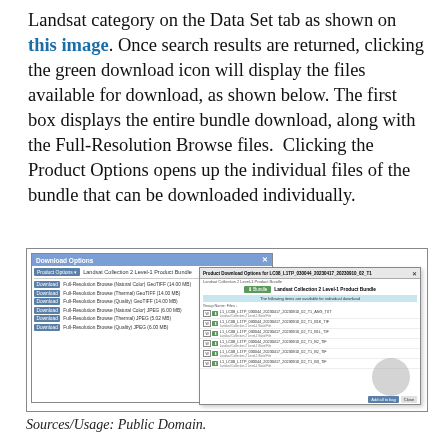Landsat category on the Data Set tab as shown on this image. Once search results are returned, clicking the green download icon will display the files available for download, as shown below. The first box displays the entire bundle download, along with the Full-Resolution Browse files.  Clicking the Product Options opens up the individual files of the bundle that can be downloaded individually.
[Figure (screenshot): Screenshot showing a 'Download Options' dialog with Product Options button and multiple Download buttons for Full-Resolution Browse files (GeoTIFF and JPEG formats), with an arrow pointing to a 'Product Download Options' dialog listing individual band files for a Landsat scene.]
Sources/Usage: Public Domain.